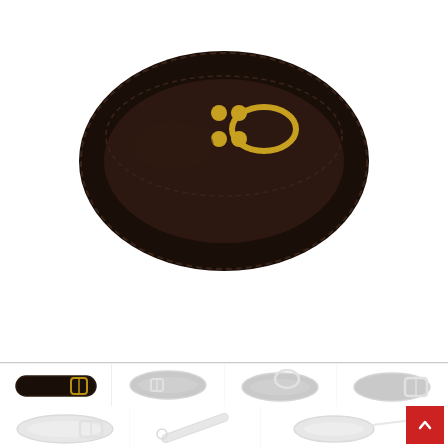[Figure (photo): Main product photo: close-up of a dark brown/black leather collar with gold D-ring and rivets, on white background]
[Figure (photo): Thumbnail 1: Black leather collar with gold buckle, clear/sharp]
[Figure (photo): Thumbnail 2: Dark collar, faded/greyed out]
[Figure (photo): Thumbnail 3: Dark collar with D-ring, faded/greyed out]
[Figure (photo): Thumbnail 4: Collar with large gold buckle, faded/greyed out]
[Figure (photo): Thumbnail 5: White/light collar with gold buckle, faded/greyed out]
[Figure (photo): Thumbnail 6: Straight short strap/leash piece, faded/greyed out]
[Figure (photo): Thumbnail 7: Collar with chain leash attached, faded/greyed out]